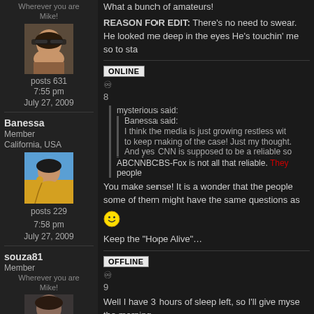Wherever you are Mike!
[Figure (photo): Avatar photo of Michael Jackson with sunglasses]
posts 631
7:55 pm
July 27, 2009
Banessa
Member
California, USA
[Figure (photo): Avatar photo of Michael Jackson performing on stage]
posts 229
So now I won't believe anything anymore. What a bunch of amateurs!
REASON FOR EDIT: There's no need to swear. He looked me deep in the eyes He's touchin' me so to sta
ONLINE
8
mysterious said:
Banessa said:
I think the media is just growing restless with
to keep making of the case! Just my thought.
And yes CNN is supposed to be a reliable so
ABCNNBCBS-Fox is not all that reliable. They
people
You make sense! It is a wonder that the people
some of them might have the same questions as
Keep the “Hope Alive”…
7:58 pm
July 27, 2009
OFFLINE
9
souza81
Member
Wherever you are Mike!
Well I have 3 hours of sleep left, so I'll give myse
the morning......
Keep op the good posting tonight, so I'll have so
Goodnight and talk to y'all tomorrow!